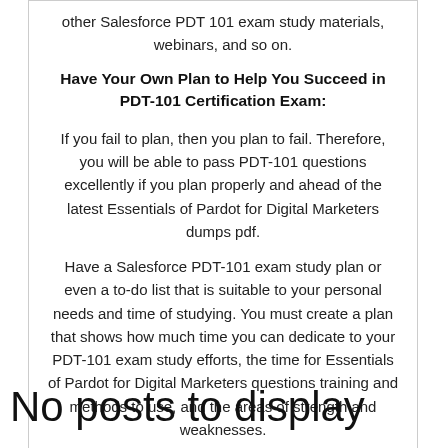other Salesforce PDT 101 exam study materials, webinars, and so on.
Have Your Own Plan to Help You Succeed in PDT-101 Certification Exam:
If you fail to plan, then you plan to fail. Therefore, you will be able to pass PDT-101 questions excellently if you plan properly and ahead of the latest Essentials of Pardot for Digital Marketers dumps pdf.
Have a Salesforce PDT-101 exam study plan or even a to-do list that is suitable to your personal needs and time of studying. You must create a plan that shows how much time you can dedicate to your PDT-101 exam study efforts, the time for Essentials of Pardot for Digital Marketers questions training and methods to use, and the areas of strength and weaknesses.
No posts to display